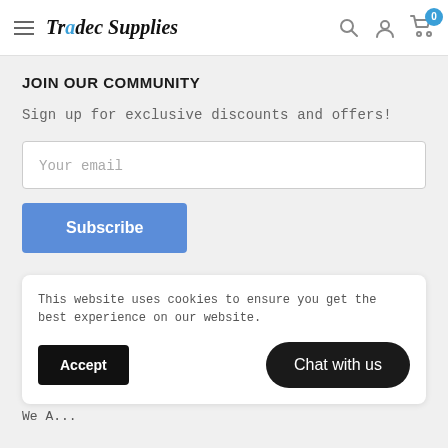Tradec Supplies
JOIN OUR COMMUNITY
Sign up for exclusive discounts and offers!
Your email
Subscribe
This website uses cookies to ensure you get the best experience on our website.
Accept
Chat with us